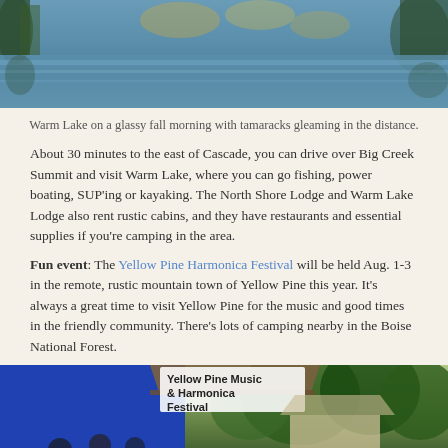[Figure (photo): Warm Lake on a glassy fall morning with tamaracks reflected on the water]
Warm Lake on a glassy fall morning with tamaracks gleaming in the distance.
About 30 minutes to the east of Cascade, you can drive over Big Creek Summit and visit Warm Lake, where you can go fishing, power boating, SUP'ing or kayaking. The North Shore Lodge and Warm Lake Lodge also rent rustic cabins, and they have restaurants and essential supplies if you're camping in the area.
Fun event: The Yellow Pine Harmonica Festival will be held Aug. 1-3 in the remote, rustic mountain town of Yellow Pine this year. It's always a great time to visit Yellow Pine for the music and good times in the friendly community. There's lots of camping nearby in the Boise National Forest.
[Figure (photo): Yellow Pine Music & Harmonica Festival outdoor event with performers on stage under a covered area surrounded by trees]